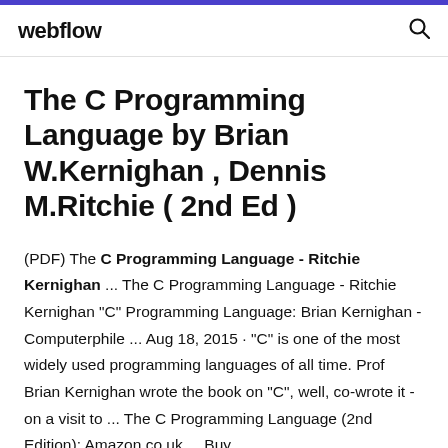webflow
The C Programming Language by Brian W.Kernighan , Dennis M.Ritchie ( 2nd Ed )
(PDF) The C Programming Language - Ritchie Kernighan ... The C Programming Language - Ritchie Kernighan "C" Programming Language: Brian Kernighan - Computerphile ... Aug 18, 2015 · "C" is one of the most widely used programming languages of all time. Prof Brian Kernighan wrote the book on "C", well, co-wrote it - on a visit to ... The C Programming Language (2nd Edition): Amazon.co.uk ... Buy